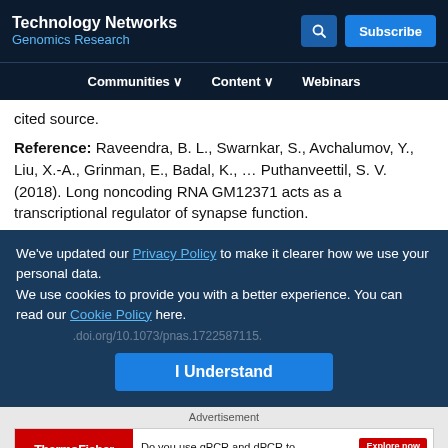Technology Networks — Genomics Research
Communities | Content | Webinars
cited source.
Reference: Raveendra, B. L., Swarnkar, S., Avchalumov, Y., Liu, X.-A., Grinman, E., Badal, K., ... Puthanveettil, S. V. (2018). Long noncoding RNA GM12371 acts as a transcriptional regulator of synapse function.
We've updated our Privacy Policy to make it clearer how we use your personal data.
We use cookies to provide you with a better experience. You can read our Cookie Policy here.
I Understand
Advertisement
[Figure (other): ThermoFisher Scientific advertisement banner for qPCR and dPCR biologics with Applied Biosystems branding and Explore Now button]